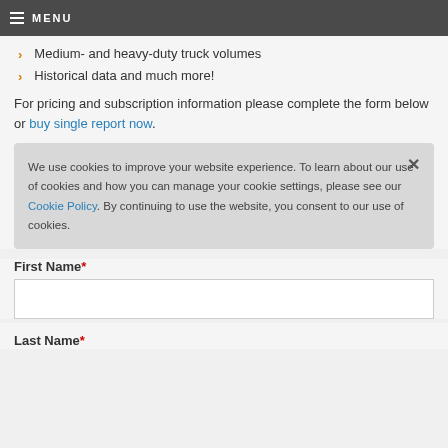MENU
Medium- and heavy-duty truck volumes
Historical data and much more!
For pricing and subscription information please complete the form below or buy single report now.
We use cookies to improve your website experience. To learn about our use of cookies and how you can manage your cookie settings, please see our Cookie Policy. By continuing to use the website, you consent to our use of cookies.
First Name*
Last Name*